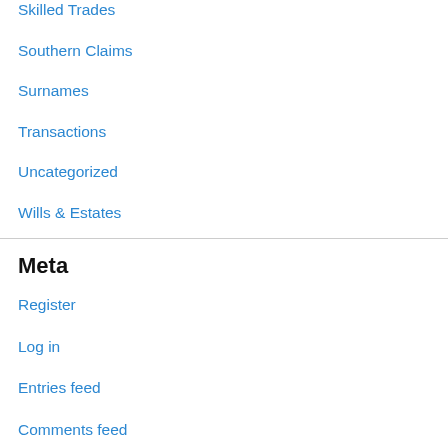Skilled Trades
Southern Claims
Surnames
Transactions
Uncategorized
Wills & Estates
Meta
Register
Log in
Entries feed
Comments feed
WordPress.com
[Figure (logo): Circular gear/badge shaped logo with text 'WIDE' visible at bottom center, black and white]